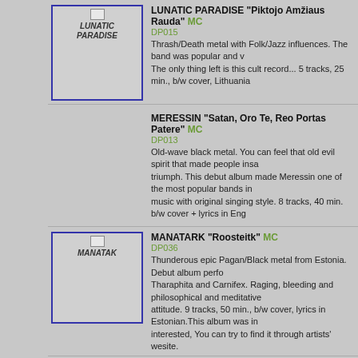[Figure (other): Album cover thumbnail for Lunatic Paradise]
LUNATIC PARADISE "Piktojo Amžiaus Rauda" MC
DP015
Thrash/Death metal with Folk/Jazz influences. The band was popular and v... The only thing left is this cult record... 5 tracks, 25 min., b/w cover, Lithuania
MERESSIN "Satan, Oro Te, Reo Portas Patere" MC
DP013
Old-wave black metal. You can feel that old evil spirit that made people insa... triumph. This debut album made Meressin one of the most popular bands in... music with original singing style. 8 tracks, 40 min. b/w cover + lyrics in Eng
[Figure (other): Album cover thumbnail for Manatark]
MANATARK "Roosteitk" MC
DP036
Thunderous epic Pagan/Black metal from Estonia. Debut album perfo... Tharaphita and Carnifex. Raging, bleeding and philosophical and meditative... attitude. 9 tracks, 50 min., b/w cover, lyrics in Estonian.This album was in... interested, You can try to find it through artists' wesite.
[Figure (other): Album cover thumbnail for Meressin Alkis]
MERESSIN " Alkis" MC
DP053
The fourth full lenght album from the masters of Lithuanian dark metal s... metal with catchy refrains, original melodies and tender ballads! "Alkis" (... concept, words sang in Lithuanian language with some elements of Samogit... Augulis shows he is one of the top singers in Lithuanian metal scene! Imp... Zydrius himself. 12 tracks, 45 min., full color lay-out. The best album of pre